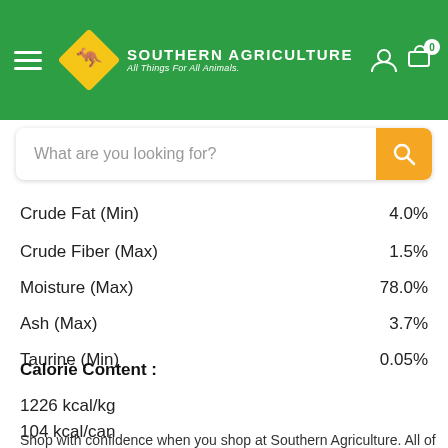Southern Agriculture — All Things For All Animals
| Nutrient | Value |
| --- | --- |
| Crude Fat (Min) | 4.0% |
| Crude Fiber (Max) | 1.5% |
| Moisture (Max) | 78.0% |
| Ash (Max) | 3.7% |
| Taurine (Min) | 0.05% |
Calorie Content :
1226 kcal/kg
104 kcal/can
Shop with confidence when you shop at Southern Agriculture. All of